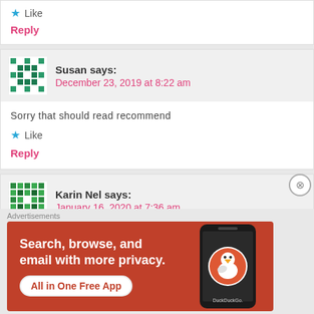Like
Reply
Susan says: December 23, 2019 at 8:22 am
Sorry that should read recommend
Like
Reply
Karin Nel says: January 16, 2020 at 7:36 am
[Figure (infographic): DuckDuckGo advertisement banner: orange background with white bold text 'Search, browse, and email with more privacy.' and 'All in One Free App' button. Phone illustration with DuckDuckGo logo on right side.]